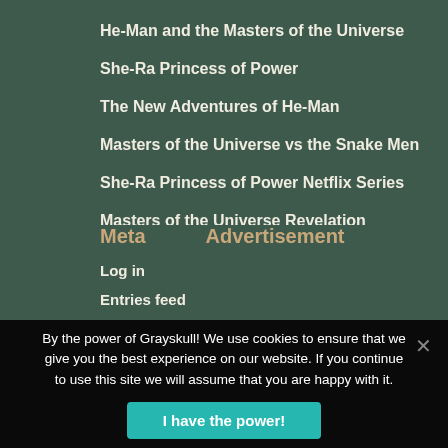He-Man and the Masters of the Universe
She-Ra Princess of Power
The New Adventures of He-Man
Masters of the Universe vs the Snake Men
She-Ra Princess of Power Netflix Series
Masters of the Universe Revelation
Meta
Advertisement
Log in
Entries feed
By the power of Grayskull! We use cookies to ensure that we give you the best experience on our website. If you continue to use this site we will assume that you are happy with it.
I have the power!